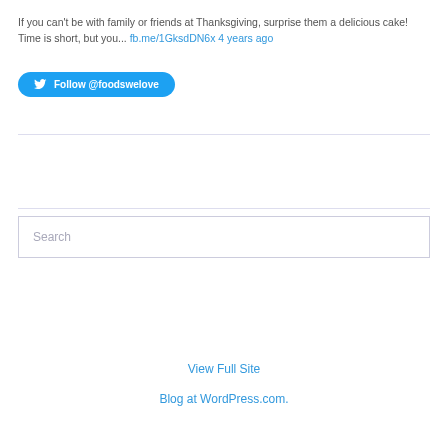If you can't be with family or friends at Thanksgiving, surprise them a delicious cake! Time is short, but you... fb.me/1GksdDN6x 4 years ago
[Figure (other): Twitter Follow button with bird icon labeled 'Follow @foodswelove']
Search
View Full Site
Blog at WordPress.com.